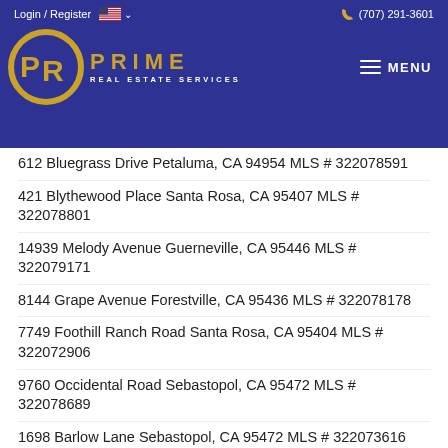Login / Register  (707) 291-3601  PRIME REAL ESTATE SERVICES  MENU
612 Bluegrass Drive Petaluma, CA 94954 MLS # 322078591
421 Blythewood Place Santa Rosa, CA 95407 MLS # 322078801
14939 Melody Avenue Guerneville, CA 95446 MLS # 322079171
8144 Grape Avenue Forestville, CA 95436 MLS # 322078178
7749 Foothill Ranch Road Santa Rosa, CA 95404 MLS # 322072906
9760 Occidental Road Sebastopol, CA 95472 MLS # 322078689
1698 Barlow Lane Sebastopol, CA 95472 MLS # 322073616
7525 Windward Drive Rohnert Park, CA 94928 MLS # 322078646
1 Mosswood Circle Cazadero, CA 95421 MLS # 322078732